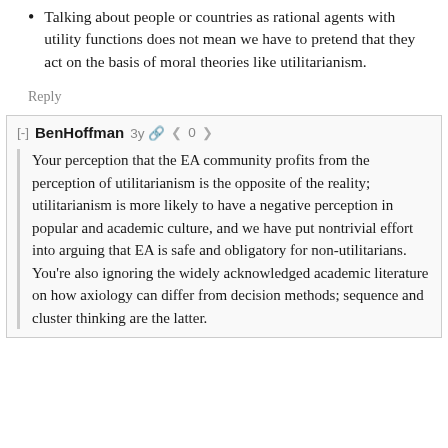Talking about people or countries as rational agents with utility functions does not mean we have to pretend that they act on the basis of moral theories like utilitarianism.
Reply
[-] BenHoffman 3y 🔗 < 0 >
Your perception that the EA community profits from the perception of utilitarianism is the opposite of the reality; utilitarianism is more likely to have a negative perception in popular and academic culture, and we have put nontrivial effort into arguing that EA is safe and obligatory for non-utilitarians. You're also ignoring the widely acknowledged academic literature on how axiology can differ from decision methods; sequence and cluster thinking are the latter.